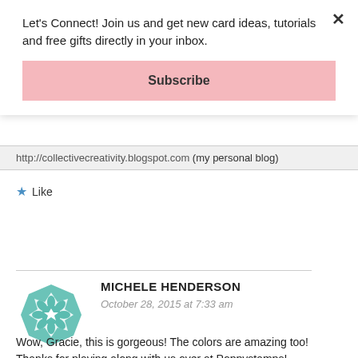Let's Connect! Join us and get new card ideas, tutorials and free gifts directly in your inbox.
Subscribe
http://collectivecreativity.blogspot.com (my personal blog)
★ Like
REPLY
MICHELE HENDERSON
October 28, 2015 at 7:33 am
Wow, Gracie, this is gorgeous! The colors are amazing too! Thanks for playing along with us over at Poppystamps!